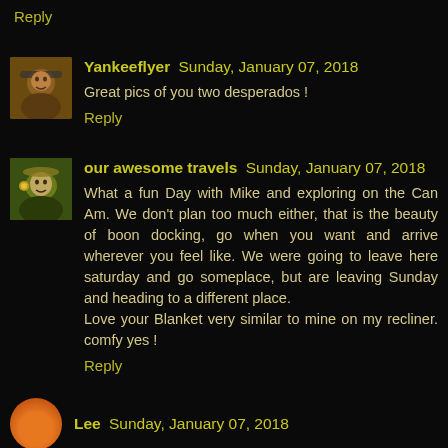Reply
Yankeeflyer  Sunday, January 07, 2018
Great pics of you two desperados !
Reply
our awesome travels  Sunday, January 07, 2018
What a fun Day with Mike and exploring on the Can Am. We don't plan too much either, that is the beauty of boon docking, go when you want and arrive wherever you feel like. We were going to leave here saturday and go someplace, but are leaving Sunday and heading to a different place.
Love your Blanket very similar to mine on my recliner. comfy yes !
Reply
Lee  Sunday, January 07, 2018